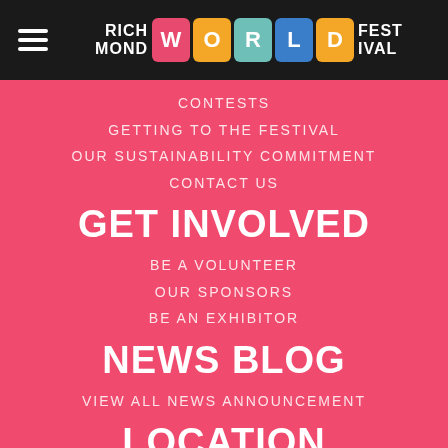Richmond World Festival
CONTESTS
GETTING TO THE FESTIVAL
OUR SUSTAINABILITY COMMITMENT
CONTACT US
GET INVOLVED
BE A VOLUNTEER
OUR SPONSORS
BE AN EXHIBITOR
NEWS BLOG
VIEW ALL NEWS ANNOUNCEMENT
LOCATION